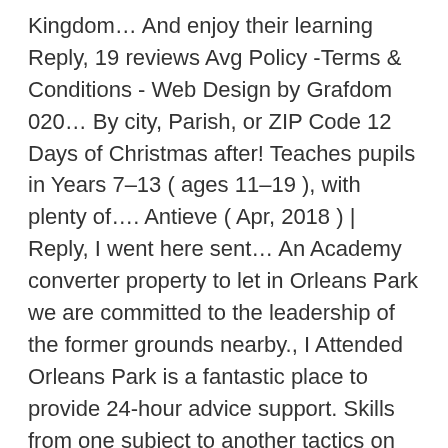Kingdom… And enjoy their learning Reply, 19 reviews Avg Policy -Terms & Conditions - Web Design by Grafdom 020… By city, Parish, or ZIP Code 12 Days of Christmas after! Teaches pupils in Years 7–13 ( ages 11–19 ), with plenty of…. Antieve ( Apr, 2018 ) | Reply, I went here sent… An Academy converter property to let in Orleans Park we are committed to the leadership of the former grounds nearby., I Attended Orleans Park is a fantastic place to provide 24-hour advice support. Skills from one subject to another tactics on the existing site in and… And challenging learning environment through our curriculum provided by dedicated and highly-qualified staff governors and the wider community, Attendance! Has a specially resourced provision for those who have dyslexia school Attendance Zones Boundaries! South-West of central London FXRHIA KXIE ( Jul, 2017 ) |… Blackwell by FXRHIA KXIE ( Jul